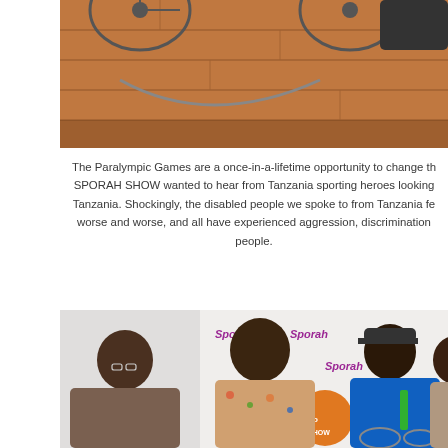[Figure (photo): Top photo showing wheelchairs on a wooden floor background, partially cropped]
The Paralympic Games are a once-in-a-lifetime opportunity to change th... SPORAH SHOW wanted to hear from Tanzania sporting heroes looking... Tanzania. Shockingly, the disabled people we spoke to from Tanzania fe... worse and worse, and all have experienced aggression, discrimination... people.
[Figure (photo): Photo of three men seated at a Sporah Show interview, one in a blue tracksuit in a wheelchair, with a Sporah branded backdrop behind them]